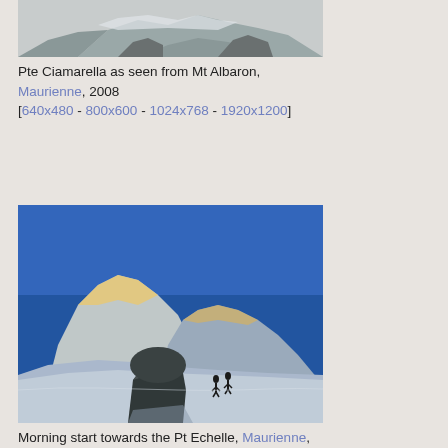[Figure (photo): Partial view of Pte Ciamarella snowy mountain as seen from Mt Albaron, showing rocky terrain with snow]
Pte Ciamarella as seen from Mt Albaron, Maurienne, 2008
[640x480 - 800x600 - 1024x768 - 1920x1200]
[Figure (photo): Morning mountain scene showing two climbers on a snow slope with a large rock formation in the foreground and snow-capped peaks illuminated by morning light in the background, Maurienne]
Morning start towards the Pt Echelle, Maurienne, 2008